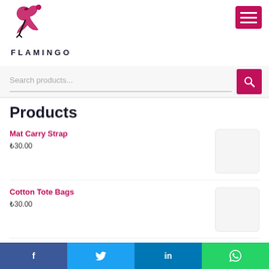[Figure (logo): Flamingo brand logo with stylized pink flamingo bird graphic above the text FLAMINGO in bold black capital letters with wide letter spacing]
Search products...
Products
Mat Carry Strap
₺30.00
Cotton Tote Bags
₺30.00
Book our Yoga Classes
f   🐦   in   WhatsApp